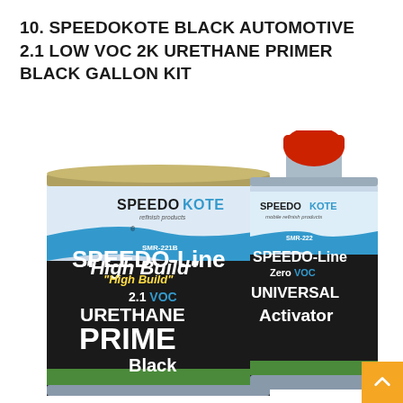10. SPEEDOKOTE BLACK AUTOMOTIVE 2.1 LOW VOC 2K URETHANE PRIMER BLACK GALLON KIT
[Figure (photo): Product photo showing two containers: a large gallon can of SPEEDOKOTE SMR-221B SPEEDO-Line High Build 2.1 VOC Urethane Prime Black, and a smaller bottle of SPEEDOKOTE SMR-222 SPEEDO-Line Zero VOC Universal Activator. Both containers have blue and white label design with green accent stripe.]